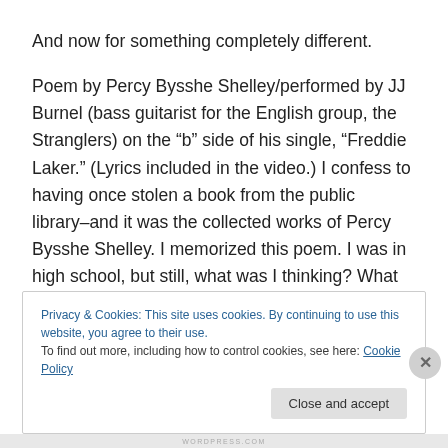And now for something completely different.

Poem by Percy Bysshe Shelley/performed by JJ Burnel (bass guitarist for the English group, the Stranglers) on the “b” side of his single, “Freddie Laker.” (Lyrics included in the video.) I confess to having once stolen a book from the public library–and it was the collected works of Percy Bysshe Shelley. I memorized this poem. I was in high school, but still, what was I thinking? What I’m thinking now is that this is actually pretty cool.
Privacy & Cookies: This site uses cookies. By continuing to use this website, you agree to their use.
To find out more, including how to control cookies, see here: Cookie Policy
WORDPRESS.COM